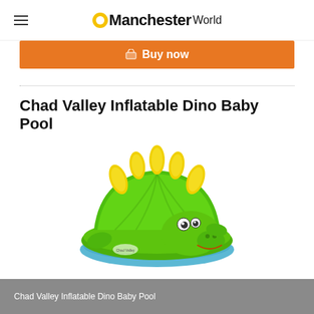Manchester World
Buy now
Chad Valley Inflatable Dino Baby Pool
[Figure (photo): Green inflatable dinosaur-shaped baby pool with yellow spikes on top, a smiling dino face, and a blue interior visible at the bottom. The pool has a canopy/shade formed by the dinosaur's back arching over it.]
Chad Valley Inflatable Dino Baby Pool